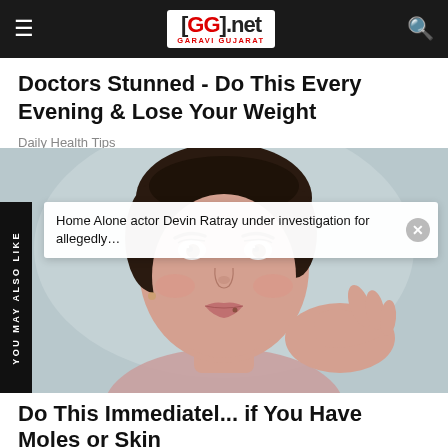GG2.net GARAVI GUJARAT
Doctors Stunned - Do This Every Evening & Lose Your Weight
Daily Health Tips
[Figure (photo): Close-up portrait of a young woman with dark hair, holding her hand near her face and chin, looking at the camera. Light blue-gray background.]
Home Alone actor Devin Ratray under investigation for allegedly…
YOU MAY ALSO LIKE
Do This Immediately if You Have Moles or Skin